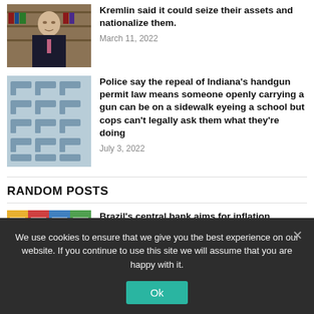[Figure (photo): Photo of a man in a suit (Putin) sitting in front of bookshelves]
Kremlin said it could seize their assets and nationalize them.
March 11, 2022
[Figure (photo): Photo of multiple handguns arranged in rows on a blue background]
Police say the repeal of Indiana’s handgun permit law means someone openly carrying a gun can be on a sidewalk eyeing a school but cops can’t legally ask them what they’re doing
July 3, 2022
RANDOM POSTS
[Figure (photo): Photo of colorful signs or products (possibly Brazilian market)]
Brazil’s central bank aims for inflation ‘around’ 3.25% target in 2023
We use cookies to ensure that we give you the best experience on our website. If you continue to use this site we will assume that you are happy with it.